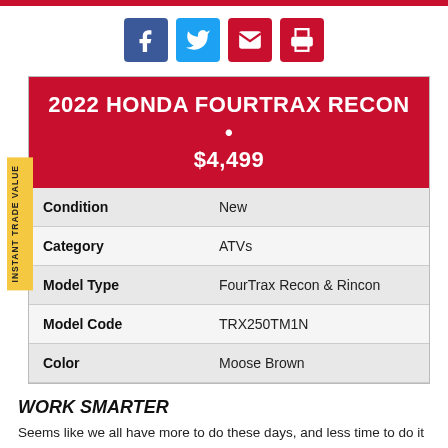[Figure (other): Social media sharing icons: Facebook (blue), Twitter (light blue), Email (red), Print (red)]
2022 HONDA FOURTRAX RECON • $4,499
| Field | Value |
| --- | --- |
| Condition | New |
| Category | ATVs |
| Model Type | FourTrax Recon & Rincon |
| Model Code | TRX250TM1N |
| Color | Moose Brown |
WORK SMARTER
Seems like we all have more to do these days, and less time to do it in. "Work smarter, not harder," they say.